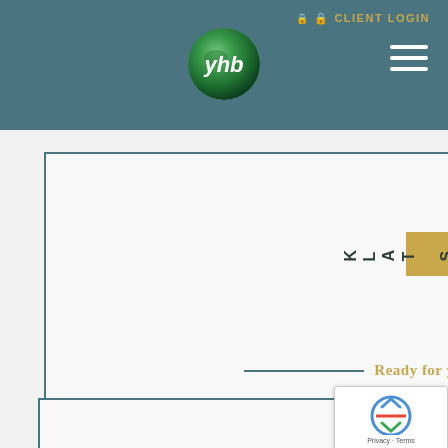CLIENT LOGIN
[Figure (logo): YHB logo - green globe circle with 'yhb' text in white italic]
[Figure (other): Hamburger menu icon (three white horizontal bars)]
[Figure (other): Large bordered content box - main content area placeholder]
LETS TALK
Ready for your review?
[Figure (other): Bottom bordered content box - form area placeholder]
[Figure (other): reCAPTCHA badge with Google logo and Privacy - Terms text]